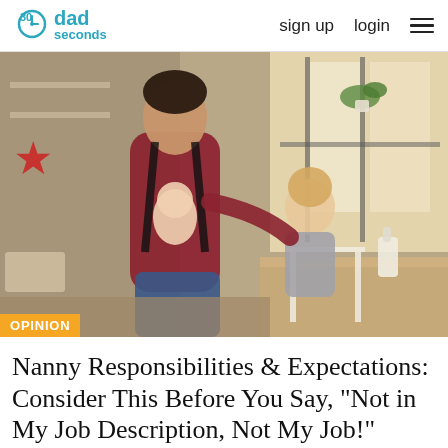30seconds dad | sign up  login
[Figure (photo): A smiling man wearing a baby carrier with an infant inside, standing next to a toddler at a kitchen counter or high chair. The kitchen has natural light from a window, plants on the windowsill, and household items visible. The man is wearing a red t-shirt and jeans.]
OPINION
Nanny Responsibilities & Expectations: Consider This Before You Say, "Not in My Job Description, Not My Job!"